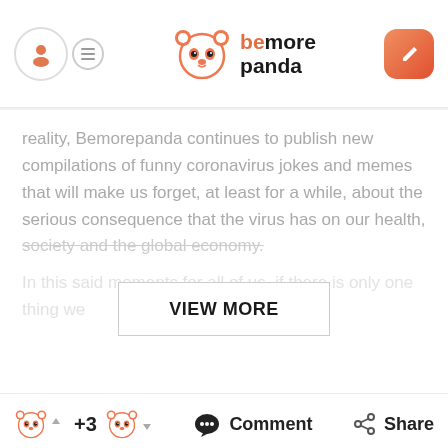bemorepanda
reality, Bemorepanda continues to publish new compilations of funny coronavirus jokes and memes that will make us forget, at least for a while, about the serious consequence that the virus has on our health, society and the global economy.

In this said moments for all of us, if there is only one thing we
VIEW MORE
+3   Comment   Share
Compilation of funniest fails during quarantine
Vlada Gonta
2 years ago